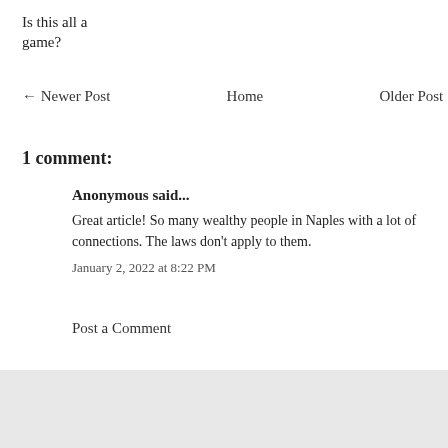Is this all a game?
← Newer Post   Home   Older Post →
1 comment:
Anonymous said...
Great article! So many wealthy people in Naples with a lot of connections. The laws don't apply to them.
January 2, 2022 at 8:22 PM
Post a Comment
Find an article...
Search